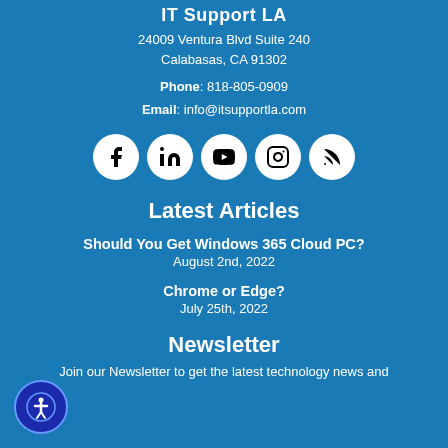IT Support LA
24009 Ventura Blvd Suite 240
Calabasas, CA 91302
Phone: 818-805-0909
Email: info@itsupportla.com
[Figure (infographic): Row of 5 social media icons (Facebook, LinkedIn, YouTube, Instagram, RSS) as white circles on blue background]
Latest Articles
Should You Get Windows 365 Cloud PC?
August 2nd, 2022
Chrome or Edge?
July 25th, 2022
Newsletter
Join our Newsletter to get the latest technology news and